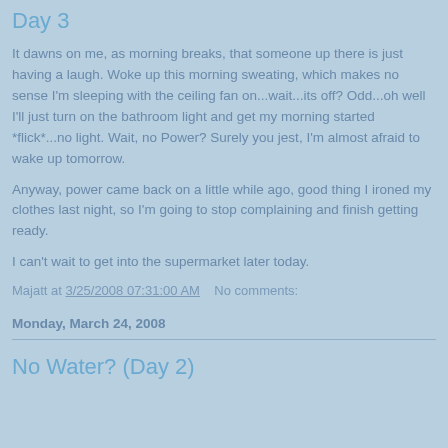Day 3
It dawns on me, as morning breaks, that someone up there is just having a laugh. Woke up this morning sweating, which makes no sense I'm sleeping with the ceiling fan on...wait...its off? Odd...oh well I'll just turn on the bathroom light and get my morning started *flick*...no light. Wait, no Power? Surely you jest, I'm almost afraid to wake up tomorrow.
Anyway, power came back on a little while ago, good thing I ironed my clothes last night, so I'm going to stop complaining and finish getting ready.
I can't wait to get into the supermarket later today.
Majatt at 3/25/2008 07:31:00 AM    No comments:
Monday, March 24, 2008
No Water? (Day 2)